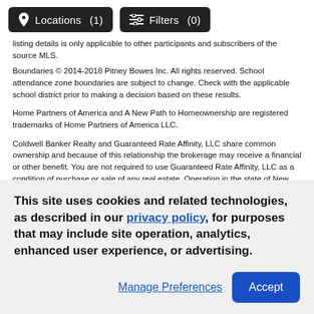Locations (1)   Filters (0)
listing details is only applicable to other participants and subscribers of the source MLS.
Boundaries © 2014-2018 Pitney Bowes Inc. All rights reserved. School attendance zone boundaries are subject to change. Check with the applicable school district prior to making a decision based on these results.
Home Partners of America and A New Path to Homeownership are registered trademarks of Home Partners of America LLC.
Coldwell Banker Realty and Guaranteed Rate Affinity, LLC share common ownership and because of this relationship the brokerage may receive a financial or other benefit. You are not required to use Guaranteed Rate Affinity, LLC as a condition of purchase or sale of any real estate. Operating in the state of New York as GR Affinity, LLC in lieu of the legal name Guaranteed Rate Affinity, LLC.
This site uses cookies and related technologies, as described in our privacy policy, for purposes that may include site operation, analytics, enhanced user experience, or advertising.
Manage Preferences   Accept